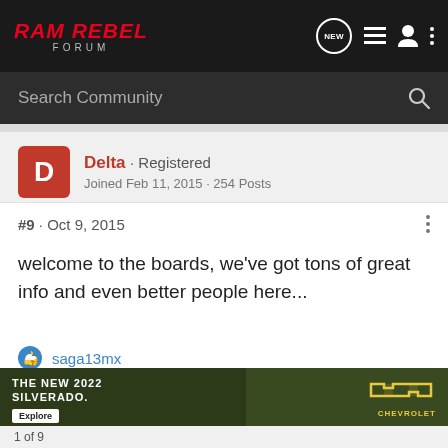RAM REBEL FORUM
Search Community
Delta · Registered
Joined Feb 11, 2015 · 254 Posts
#9 · Oct 9, 2015
welcome to the boards, we've got tons of great info and even better people here...
saga13mx
[Figure (photo): Advertisement for The New 2022 Silverado by Chevrolet with an Explore button]
1 of 9